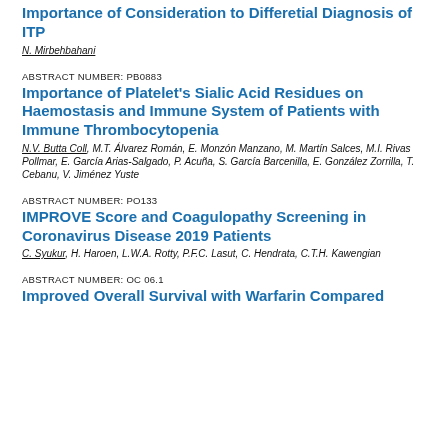Importance of Consideration to Differetial Diagnosis of ITP
N. Mirbehbahani
ABSTRACT NUMBER: PB0883
Importance of Platelet's Sialic Acid Residues on Haemostasis and Immune System of Patients with Immune Thrombocytopenia
N.V. Butta Coll, M.T. Álvarez Román, E. Monzón Manzano, M. Martín Salces, M.I. Rivas Pollmar, E. García Arias-Salgado, P. Acuña, S. García Barcenilla, E. González Zorrilla, T. Cebanu, V. Jiménez Yuste
ABSTRACT NUMBER: PO133
IMPROVE Score and Coagulopathy Screening in Coronavirus Disease 2019 Patients
C. Syukur, H. Haroen, L.W.A. Rotty, P.F.C. Lasut, C. Hendrata, C.T.H. Kawengian
ABSTRACT NUMBER: OC 06.1
Improved Overall Survival with Warfarin Compared